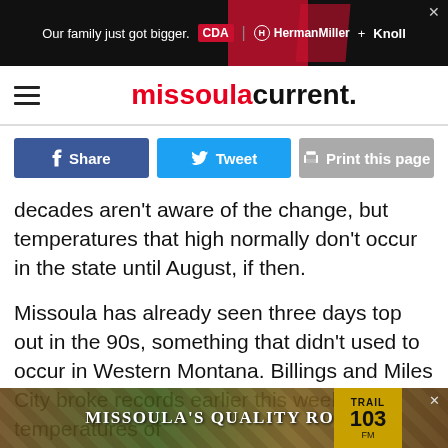[Figure (screenshot): Top advertisement banner: black background with red chair graphic, text 'Our family just got bigger.' with CDA, HermanMiller + Knoll logos, and close X button]
missoula current.
[Figure (infographic): Social share and print buttons: Facebook Share (dark blue), Tweet (light blue), Print this page (gray)]
decades aren't aware of the change, but temperatures that high normally don't occur in the state until August, if then.
Missoula has already seen three days top out in the 90s, something that didn't used to occur in Western Montana. Billings and Miles City broke records earlier this week with temperatures of 10_ and 10_
[Figure (screenshot): Bottom advertisement for Missoula's Quality Rock with Trail 103 radio station badge]